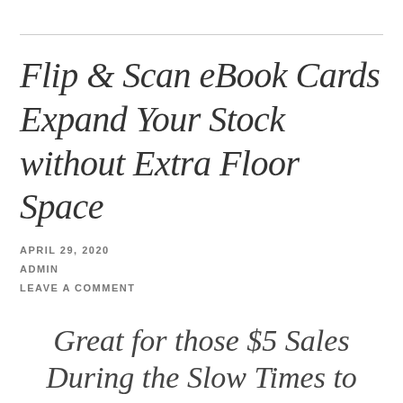Flip & Scan eBook Cards Expand Your Stock without Extra Floor Space
APRIL 29, 2020
ADMIN
LEAVE A COMMENT
Great for those $5 Sales During the Slow Times to